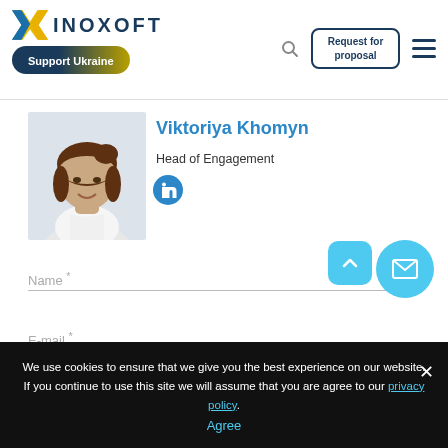[Figure (logo): Inoxoft logo with X icon and 'Support Ukraine' badge]
Viktoriya Khomyn
Head of Engagement
[Figure (illustration): LinkedIn icon circle]
Name *
E-mail *
We use cookies to ensure that we give you the best experience on our website. If you continue to use this site we will assume that you are agree to our privacy policy.
Agree